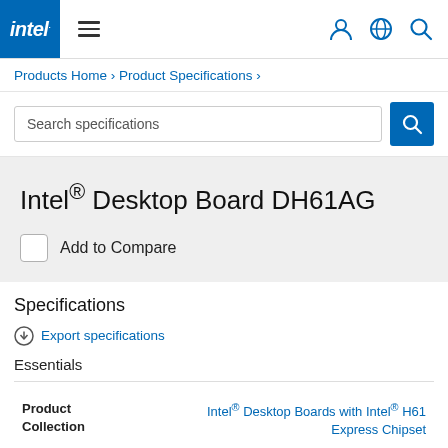intel. ≡ (user icon) (globe icon) (search icon)
Products Home › Product Specifications ›
Search specifications
Intel® Desktop Board DH61AG
Add to Compare
Specifications
Export specifications
Essentials
| Product Collection |  |
| --- | --- |
| Product Collection | Intel® Desktop Boards with Intel® H61 Express Chipset |